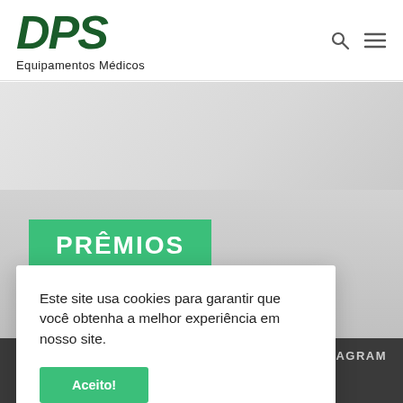[Figure (logo): DPS Equipamentos Médicos logo — bold italic dark green letters 'DPS' with 'Equipamentos Médicos' below]
[Figure (other): Search icon and hamburger menu icon in top right navigation]
[Figure (photo): Gray hero banner area with light background]
PRÊMIOS
Este site usa cookies para garantir que você obtenha a melhor experiência em nosso site.
Aceito!
INSTAGRAM
MINDRAY